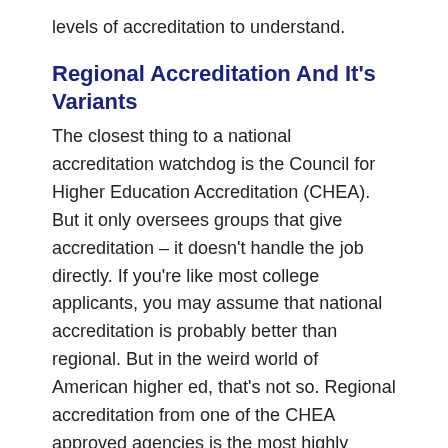levels of accreditation to understand.
Regional Accreditation And It’s Variants
The closest thing to a national accreditation watchdog is the Council for Higher Education Accreditation (CHEA). But it only oversees groups that give accreditation – it doesn’t handle the job directly. If you’re like most college applicants, you may assume that national accreditation is probably better than regional. But in the weird world of American higher ed, that’s not so. Regional accreditation from one of the CHEA approved agencies is the most highly prized type. It’s given to “academically oriented” schools that give bachelor’s, master’s and doctorate level degrees. (more below on other types of accreditation for professional training programs) Generally, you can assume that an employer won’t doubt the basic quality of your degree if your school is accredited by one of these six regionals (click on + to see a list of states served by